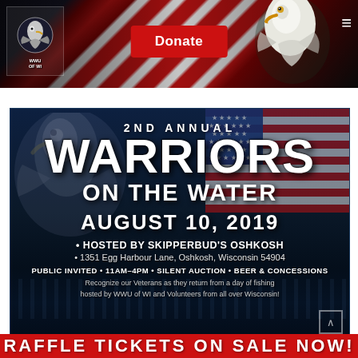[Figure (screenshot): Website navigation bar with a WWU of WI organization logo on the left, a red 'Donate' button in the center, a bald eagle image on the right, and a hamburger menu icon, all on a dark background with an American flag.]
[Figure (infographic): Event poster for '2nd Annual Warriors on the Water' on August 10, 2019, hosted by Skipperbud's Oshkosh, 1351 Egg Harbour Lane, Oshkosh, Wisconsin 54904. Dark blue background with bald eagle and American flag imagery. Text: PUBLIC INVITED • 11AM–4PM • SILENT AUCTION • BEER & CONCESSIONS. Recognize our Veterans as they return from a day of fishing hosted by WWU of WI and Volunteers from all over Wisconsin!]
2ND ANNUAL
WARRIORS ON THE WATER
AUGUST 10, 2019
HOSTED BY SKIPPERBUD'S OSHKOSH
1351 Egg Harbour Lane, Oshkosh, Wisconsin 54904
PUBLIC INVITED • 11AM–4PM • SILENT AUCTION • BEER & CONCESSIONS
Recognize our Veterans as they return from a day of fishing hosted by WWU of WI and Volunteers from all over Wisconsin!
RAFFLE TICKETS ON SALE NOW!